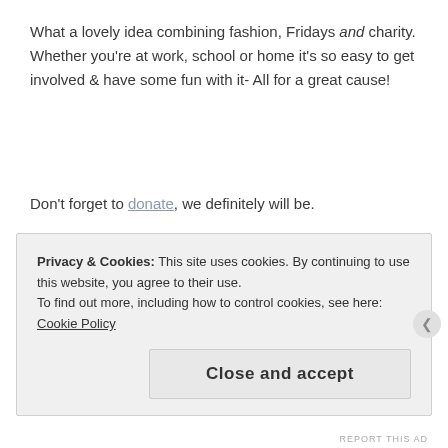What a lovely idea combining fashion, Fridays and charity. Whether you're at work, school or home it's so easy to get involved & have some fun with it- All for a great cause!
Don't forget to donate, we definitely will be.
x
Privacy & Cookies: This site uses cookies. By continuing to use this website, you agree to their use.
To find out more, including how to control cookies, see here: Cookie Policy
Close and accept
REPORT THIS AD